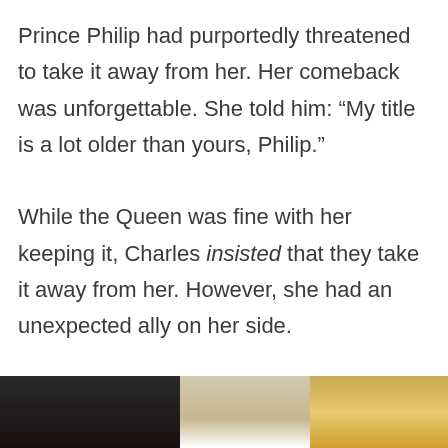Prince Philip had purportedly threatened to take it away from her. Her comeback was unforgettable. She told him: “My title is a lot older than yours, Philip.”

While the Queen was fine with her keeping it, Charles insisted that they take it away from her. However, she had an unexpected ally on her side.
[Figure (photo): Partial view of a group photo showing people in formal attire, partially cropped at the bottom of the page. Dark background on left, light/blonde hair visible on right.]